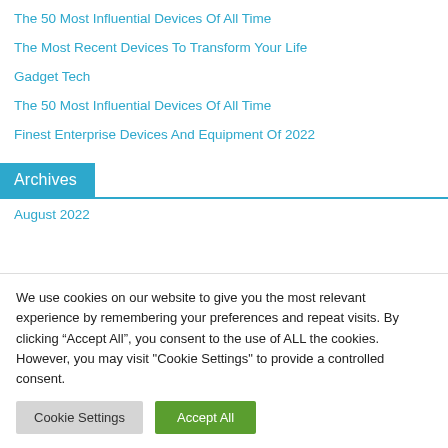The 50 Most Influential Devices Of All Time
The Most Recent Devices To Transform Your Life
Gadget Tech
The 50 Most Influential Devices Of All Time
Finest Enterprise Devices And Equipment Of 2022
Archives
August 2022
We use cookies on our website to give you the most relevant experience by remembering your preferences and repeat visits. By clicking “Accept All”, you consent to the use of ALL the cookies. However, you may visit "Cookie Settings" to provide a controlled consent.
Cookie Settings | Accept All